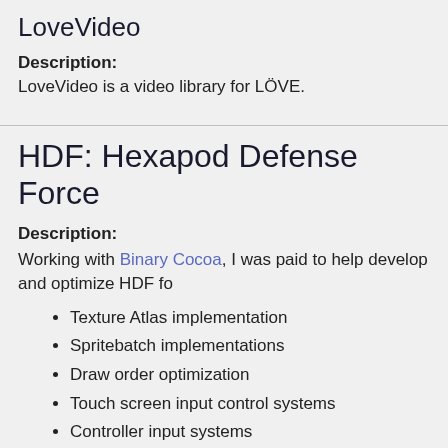LoveVideo
Description:
LoveVideo is a video library for LÖVE.
HDF: Hexapod Defense Force
Description:
Working with Binary Cocoa, I was paid to help develop and optimize HDF fo
Texture Atlas implementation
Spritebatch implementations
Draw order optimization
Touch screen input control systems
Controller input systems
Continuous integration integration
Please visit hdggame.com for more information!